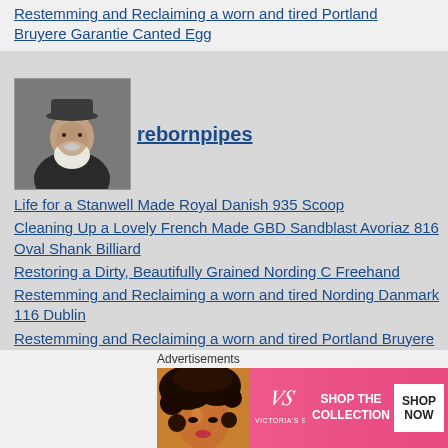Restemming and Reclaiming a worn and tired Portland Bruyere Garantie Canted Egg
[Figure (photo): Avatar photo of an elderly man with a hat and white beard]
rebornpipes
Life for a Stanwell Made Royal Danish 935 Scoop
Cleaning Up a Lovely French Made GBD Sandblast Avoriaz 816 Oval Shank Billiard
Restoring a Dirty, Beautifully Grained Nording C Freehand
Restemming and Reclaiming a worn and tired Nording Danmark 116 Dublin
Restemming and Reclaiming a worn and tired Portland Bruyere Garantie Canted Egg
[Figure (photo): Partial circular avatar at bottom, next author]
Advertisements
[Figure (illustration): Victoria's Secret advertisement banner: SHOP THE COLLECTION, SHOP NOW]